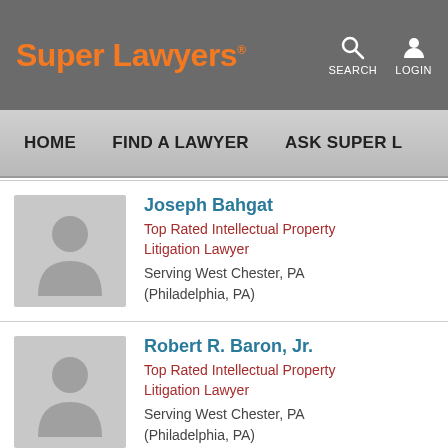Super Lawyers
SEARCH  LOGIN
HOME  FIND A LAWYER  ASK SUPER L
[Figure (photo): Silhouette placeholder avatar for Joseph Bahgat]
Joseph Bahgat
Top Rated Intellectual Property Litigation Lawyer
Serving West Chester, PA
(Philadelphia, PA)
[Figure (photo): Silhouette placeholder avatar for Robert R. Baron, Jr.]
Robert R. Baron, Jr.
Top Rated Intellectual Property Litigation Lawyer
Serving West Chester, PA
(Philadelphia, PA)
[Figure (photo): Silhouette placeholder avatar for William L. Bartow]
William L. Bartow
Top Rated Intellectual Property...